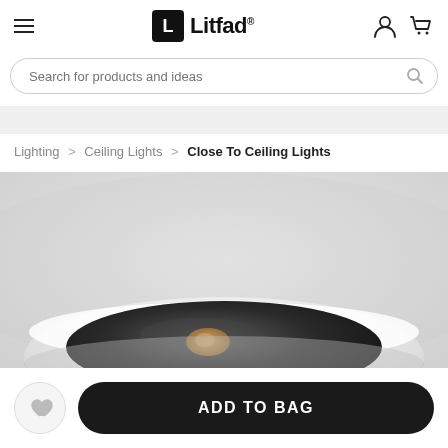Litfad
Search for products and ideas
Lighting > Ceiling Lights > Close To Ceiling Lights
[Figure (photo): Close-up photo of a white round close-to-ceiling recessed light fixture with a dark interior bowl and a small light source visible inside, mounted on a white ceiling.]
ADD TO BAG